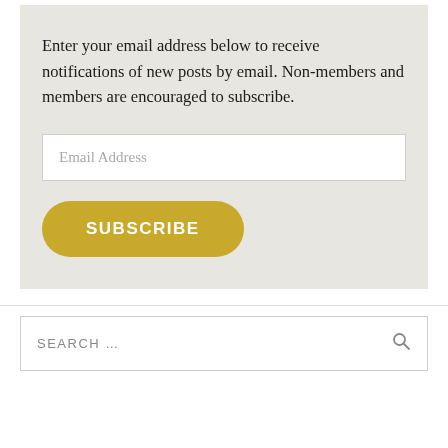Enter your email address below to receive notifications of new posts by email. Non-members and members are encouraged to subscribe.
Email Address
SUBSCRIBE
SEARCH ...